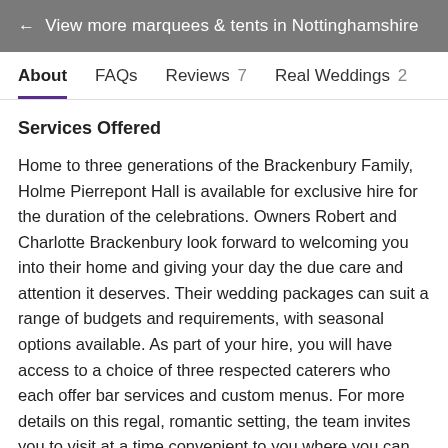← View more marquees & tents in Nottinghamshire
About   FAQs   Reviews 7   Real Weddings 2
Services Offered
Home to three generations of the Brackenbury Family, Holme Pierrepont Hall is available for exclusive hire for the duration of the celebrations. Owners Robert and Charlotte Brackenbury look forward to welcoming you into their home and giving your day the due care and attention it deserves. Their wedding packages can suit a range of budgets and requirements, with seasonal options available. As part of your hire, you will have access to a choice of three respected caterers who each offer bar services and custom menus. For more details on this regal, romantic setting, the team invites you to visit at a time convenient to you where you can walk the grounds and share your vision.